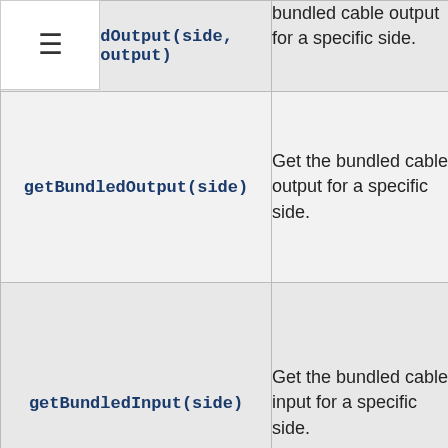| Method | Description |
| --- | --- |
| BundledOutput(side, output) | bundled cable output for a specific side. |
| getBundledOutput(side) | Get the bundled cable output for a specific side. |
| getBundledInput(side) | Get the bundled cable input for a specific side. |
| testBundledInput(side, mask) | Determine if a specific combination of colours are on for the given side. |